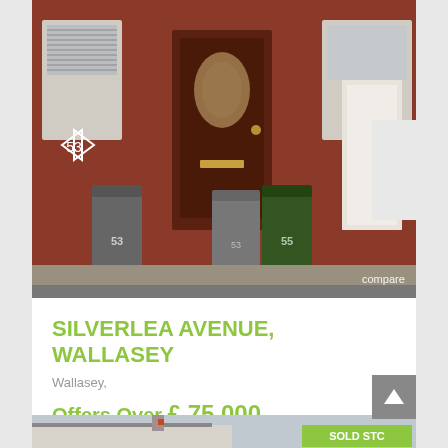[Figure (photo): Exterior photo of a red-brick terraced house at number 53, showing a dark brown front door with oval glass panel, wheelie bins numbered 53 and 55 in front, and part of a white van on the right.]
SILVERLEA AVENUE, WALLASEY
Wallasey,
Offers Over £ 75,000
2 bedrooms
1 baths
[Figure (photo): Partial exterior photo of another property with a SOLD STC badge in green in the lower right corner.]